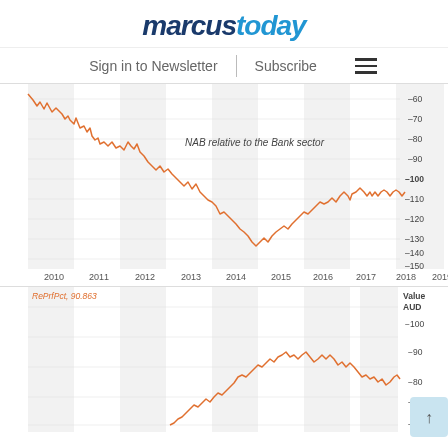[Figure (logo): MarcusToday logo — 'marcus' in dark navy italic bold, 'today' in blue italic bold]
Sign in to Newsletter | Subscribe
[Figure (continuous-plot): Line chart: NAB relative to the Bank sector, 2010–2019. Y-axis from -60 to -150 (negative values). Orange line starting near -60 in 2010, declining trend to around -140 in mid-2015, then recovering to around -100 to -110 range through 2019.]
[Figure (continuous-plot): Line chart: RePrfPct 90.863. Value AUD axis from -60 to -100. Orange line rising from around 60 in 2013, peaking near 100 around 2016, then fluctuating between 70–95 through 2019.]